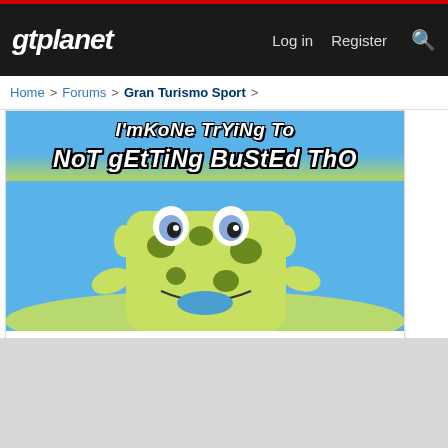gtplanet  Log in  Register
Home > Forums > Gran Turismo Sport >
[Figure (illustration): Spongebob meme image with text 'I'mkOnE TrYiNg To NoT gEtTiNg BuStEd ThO' and a link 'Click to expand...']
I wouldnt even try to get in top 10. So yeah i didnt tried. It was already very obvious from the beggining.